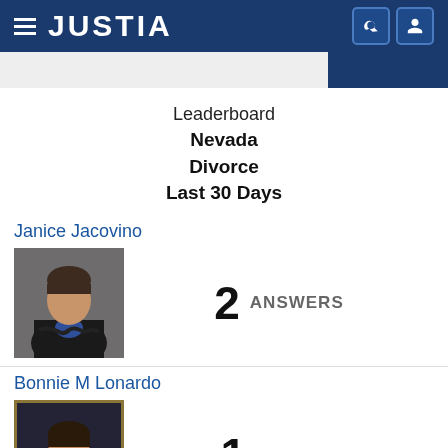JUSTIA
Leaderboard
Nevada
Divorce
Last 30 Days
Janice Jacovino
[Figure (photo): Headshot of Janice Jacovino, a woman in a black blazer with arms crossed]
2 ANSWERS
Bonnie M Lonardo
[Figure (photo): Headshot of Bonnie M Lonardo, a woman in a blue blazer with dark background and gold frame border]
1 ANSWER